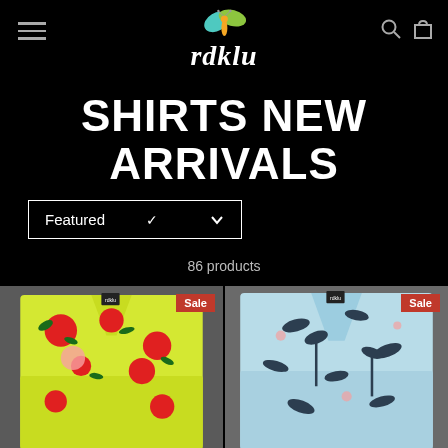rdklu
SHIRTS NEW ARRIVALS
Featured (dropdown)
86 products
[Figure (photo): Yellow floral Hawaiian shirt on a hanger with red flowers and green leaves pattern, Sale badge in top right corner]
[Figure (photo): Light blue Hawaiian shirt on a hanger with dark bird and palm tree pattern, Sale badge in top right corner]